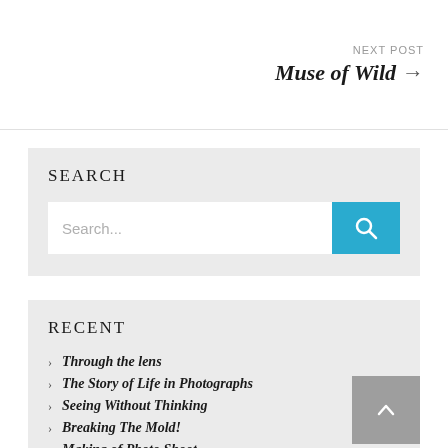NEXT POST
Muse of Wild →
SEARCH
[Figure (screenshot): Search input bar with placeholder text 'Search...' and a blue search button with magnifying glass icon]
RECENT
Through the lens
The Story of Life in Photographs
Seeing Without Thinking
Breaking The Mold!
Making of Photo Shoot